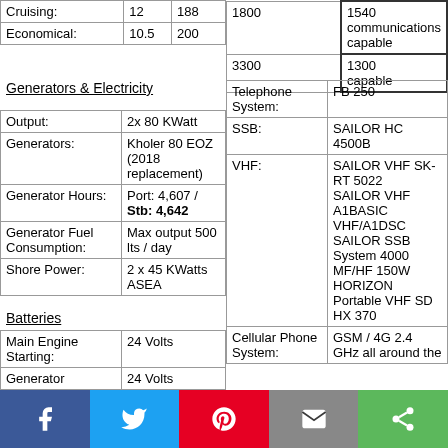| Cruising: | 12 | 188 |  | 1800 | 1540 communications capable |
| Economical: | 10.5 | 200 |  | 3300 | 1300 capable |
Generators & Electricity
| Output: | 2x 80 KWatt |
| Generators: | Kholer 80 EOZ (2018 replacement) |
| Generator Hours: | Port: 4,607 / Stb: 4,642 |
| Generator Fuel Consumption: | Max output 500 lts / day |
| Shore Power: | 2 x 45 KWatts ASEA |
Batteries
| Main Engine Starting: | 24 Volts |
| Generator | 24 Volts |
| Telephone System: | FB 250 |
| SSB: | SAILOR HC 4500B |
| VHF: | SAILOR VHF SK-RT 5022
SAILOR VHF A1BASIC VHF/A1DSC
SAILOR SSB System 4000 MF/HF 150W
HORIZON Portable VHF SD HX 370 |
| Cellular Phone System: | GSM / 4G 2.4 GHz all around the |